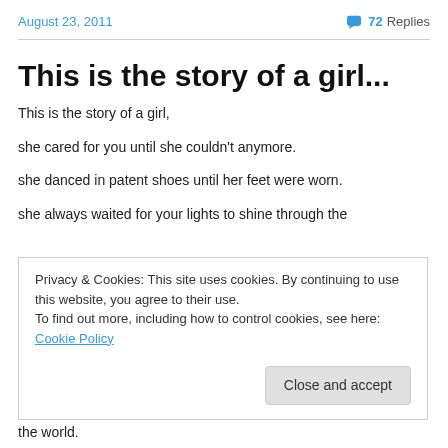August 23, 2011   💬 72 Replies
This is the story of a girl...
This is the story of a girl,
she cared for you until she couldn't anymore.
she danced in patent shoes until her feet were worn.
she always waited for your lights to shine through the
Privacy & Cookies: This site uses cookies. By continuing to use this website, you agree to their use.
To find out more, including how to control cookies, see here: Cookie Policy
the world.